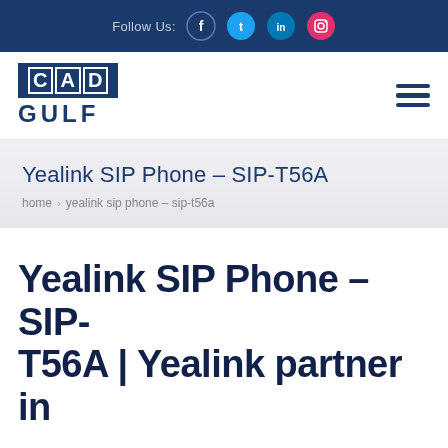Follow Us:
[Figure (logo): CAD GULF company logo with blue background for CAD text and blue outlined GULF text]
Yealink SIP Phone – SIP-T56A
home › yealink sip phone – sip-t56a
Yealink SIP Phone – SIP-T56A | Yealink partner in